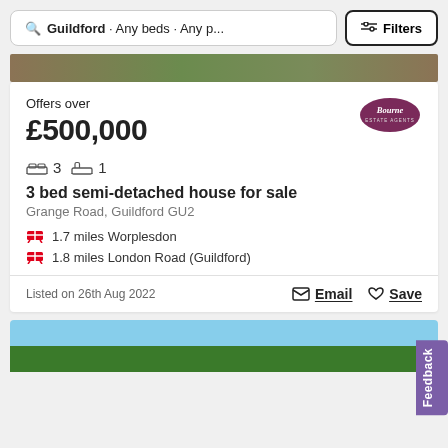Guildford · Any beds · Any p... Filters
[Figure (screenshot): Property photo strip at top of listing]
Offers over
£500,000
3 beds, 1 bathroom
3 bed semi-detached house for sale
Grange Road, Guildford GU2
1.7 miles Worplesdon
1.8 miles London Road (Guildford)
Listed on 26th Aug 2022
Email   Save
[Figure (photo): Bottom property photo showing trees and sky]